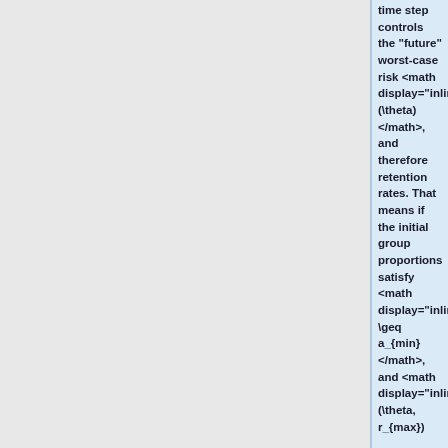time step controls the "future" worst-case risk \mathcal{R}_{max}(\theta), and therefore retention rates. That means if the initial group proportions satisfy \alpha_k^{(0)} \geq a_{min}, and \mathcal{R}_{dro}(\theta, r_{max})